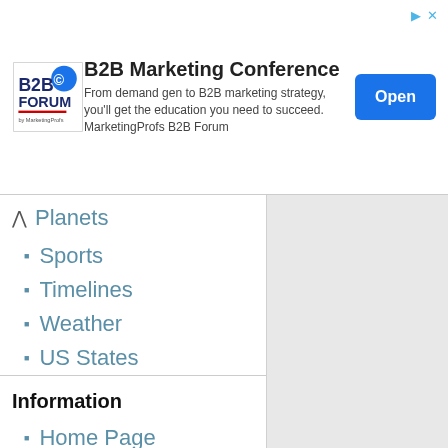[Figure (logo): B2B Forum logo and advertisement banner for B2B Marketing Conference with Open button]
Planets
Sports
Timelines
Weather
US States
Information
Home Page
Contact Us
Clip Art
search
[Figure (other): Search input box and Go/Search buttons]